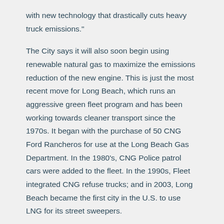with new technology that drastically cuts heavy truck emissions."
The City says it will also soon begin using renewable natural gas to maximize the emissions reduction of the new engine. This is just the most recent move for Long Beach, which runs an aggressive green fleet program and has been working towards cleaner transport since the 1970s. It began with the purchase of 50 CNG Ford Rancheros for use at the Long Beach Gas Department. In the 1980's, CNG Police patrol cars were added to the fleet. In the 1990s, Fleet integrated CNG refuse trucks; and in 2003, Long Beach became the first city in the U.S. to use LNG for its street sweepers.